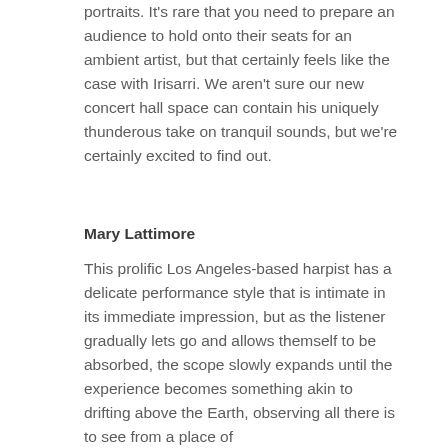portraits. It's rare that you need to prepare an audience to hold onto their seats for an ambient artist, but that certainly feels like the case with Irisarri. We aren't sure our new concert hall space can contain his uniquely thunderous take on tranquil sounds, but we're certainly excited to find out.
Mary Lattimore
This prolific Los Angeles-based harpist has a delicate performance style that is intimate in its immediate impression, but as the listener gradually lets go and allows themself to be absorbed, the scope slowly expands until the experience becomes something akin to drifting above the Earth, observing all there is to see from a place of